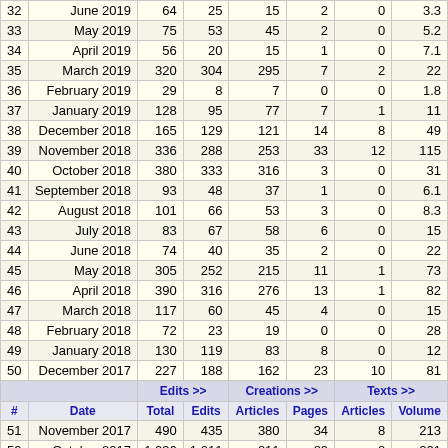| # | Date | Total | Edits | Articles | Pages | Articles | Volume |
| --- | --- | --- | --- | --- | --- | --- | --- |
| 32 | June 2019 | 64 | 25 | 15 | 2 | 0 | 3.3 |
| 33 | May 2019 | 75 | 53 | 45 | 2 | 0 | 5.2 |
| 34 | April 2019 | 56 | 20 | 15 | 1 | 0 | 7.1 |
| 35 | March 2019 | 320 | 304 | 295 | 7 | 2 | 22 |
| 36 | February 2019 | 29 | 8 | 7 | 0 | 0 | 1.8 |
| 37 | January 2019 | 128 | 95 | 77 | 7 | 1 | 11 |
| 38 | December 2018 | 165 | 129 | 121 | 14 | 8 | 49 |
| 39 | November 2018 | 336 | 288 | 253 | 33 | 12 | 115 |
| 40 | October 2018 | 380 | 333 | 316 | 3 | 0 | 31 |
| 41 | September 2018 | 93 | 48 | 37 | 1 | 0 | 6.1 |
| 42 | August 2018 | 101 | 66 | 53 | 3 | 0 | 8.3 |
| 43 | July 2018 | 83 | 67 | 58 | 6 | 0 | 15 |
| 44 | June 2018 | 74 | 40 | 35 | 2 | 0 | 22 |
| 45 | May 2018 | 305 | 252 | 215 | 11 | 1 | 73 |
| 46 | April 2018 | 390 | 316 | 276 | 13 | 1 | 82 |
| 47 | March 2018 | 117 | 60 | 45 | 4 | 0 | 15 |
| 48 | February 2018 | 72 | 23 | 19 | 0 | 0 | 28 |
| 49 | January 2018 | 130 | 119 | 83 | 8 | 0 | 12 |
| 50 | December 2017 | 227 | 188 | 162 | 23 | 10 | 81 |
| 51 | November 2017 | 490 | 435 | 380 | 34 | 8 | 213 |
| 52 | October 2017 | 1,036 | 1,011 | 811 | 89 | 8 | 221 |